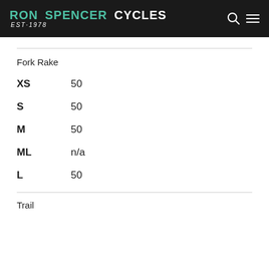RON SPENCER CYCLES EST·1978
Fork Rake
XS    50
S    50
M    50
ML    n/a
L    50
Trail